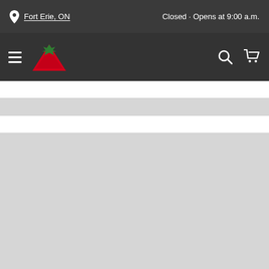Fort Erie, ON · Closed · Opens at 9:00 a.m.
[Figure (screenshot): Canadian Tire website navigation bar with hamburger menu, red triangle logo with green maple leaf, search icon, and shopping cart icon]
[Figure (other): Gray loading placeholder bar]
[Figure (other): Large gray loading placeholder content area]